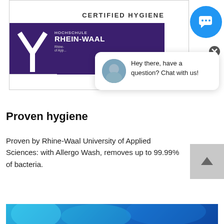[Figure (photo): Certificate image showing 'CERTIFIED HYGIENE' text at top on white background, and 'HOCHSCHULE RHEIN-WAAL Rhine-Waal University of Applied Sciences' logo on dark purple background with a Y-shaped logo mark.]
[Figure (screenshot): Blue circular chat button with speech bubble icon in top right corner, and a chat popup overlay showing an avatar photo and text 'Hey there, have a question? Chat with us!' with a close (X) button.]
Proven hygiene
Proven by Rhine-Waal University of Applied Sciences: with Allergo Wash, removes up to 99.99% of bacteria.
[Figure (photo): Partial blue/teal abstract image at the bottom of the page.]